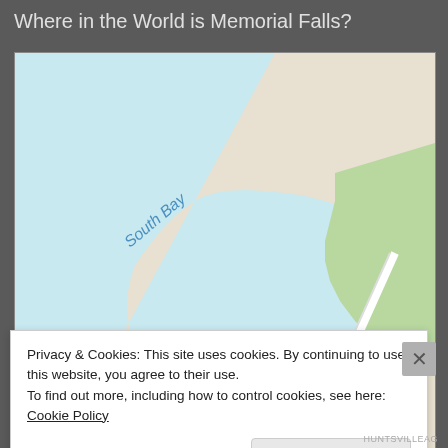Where in the World is Memorial Falls?
[Figure (map): Google Maps screenshot showing the area around Memorial Falls near Munising, Michigan. Shows South Bay water body in upper left (blue), Munising Falls Visitor Center marked with a teal location pin and camera icon, a red location pin near the center (Memorial Falls location), road labels including E Munising Ave, Tacopotamu label with 'Temporarily closed', and Comfort Inn & Suites label with a pink hotel icon at lower left.]
Privacy & Cookies: This site uses cookies. By continuing to use this website, you agree to their use.
To find out more, including how to control cookies, see here: Cookie Policy
Close and accept